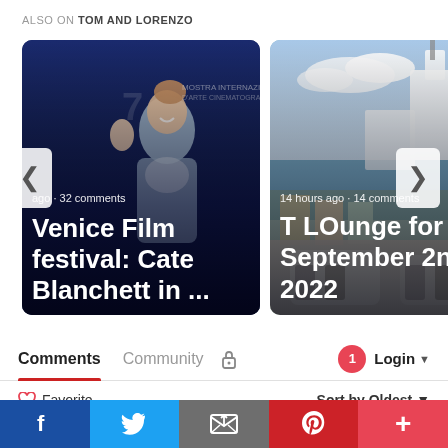ALSO ON TOM AND LORENZO
[Figure (screenshot): Carousel card 1: Photo of Cate Blanchett at Venice Film Festival waving, dark blue background. Text overlay: 'ago · 32 comments' and title 'Venice Film Festival: Cate Blanchett in ...']
[Figure (screenshot): Carousel card 2: Photo of coastal Italian town with outdoor dining tables. Text overlay: '14 hours ago · 14 comments' and title 'T LOunge for September 2nd, 2022']
Comments   Community   🔒   1  Login ▾
♡ Favorite   Sort by Oldest ▾
f   Twitter   Email   Pinterest   +